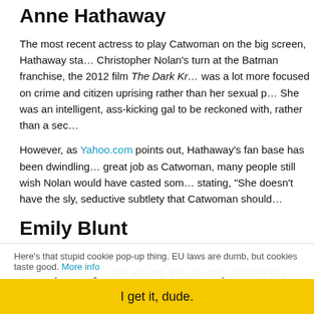Anne Hathaway
The most recent actress to play Catwoman on the big screen, Hathaway starred in Christopher Nolan's turn at the Batman franchise, the 2012 film The Dark Knight Rises. She was a lot more focused on crime and citizen uprising rather than her sexual prowess. She was an intelligent, ass-kicking gal to be reckoned with, rather than a seductress.
However, as Yahoo.com points out, Hathaway's fan base has been dwindling. Despite her great job as Catwoman, many people still wish Nolan would have casted someone else, stating, "She doesn't have the sly, seductive subtlety that Catwoman should..."
Emily Blunt
Okay so this one might still be just rumors, but the story is currently running all over the site around. We can only assume this means that there's some truth behind her role as Catwoman in the upcoming Batman vs. Superman.
Personally I think Blunt would make an amazing Catwoman. She was already offered a movie as Black Widow for Iron Man 2 and the role for Peggy Carter in Canta...
Here's that stupid cookie pop-up thing. EU laws are dumb, but cookies taste good. More info
I get it, dude.